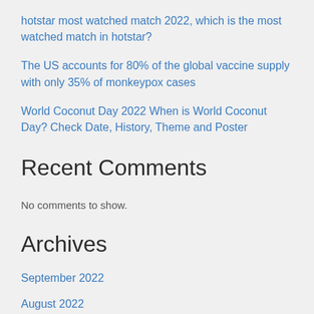hotstar most watched match 2022, which is the most watched match in hotstar?
The US accounts for 80% of the global vaccine supply with only 35% of monkeypox cases
World Coconut Day 2022 When is World Coconut Day? Check Date, History, Theme and Poster
Recent Comments
No comments to show.
Archives
September 2022
August 2022